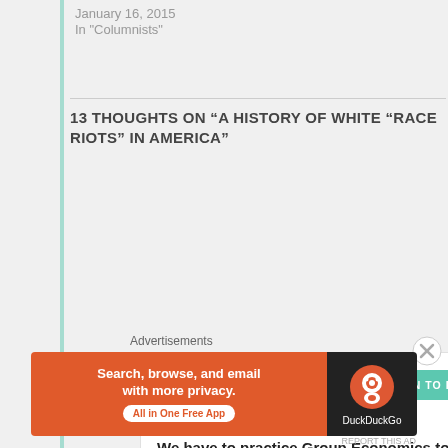January 16, 2015
In "Columnists"
13 THOUGHTS ON “A HISTORY OF WHITE “RACE RIOTS” IN AMERICA”
Lola
June 11, 2016 at 07:08
We have to practice Group Economics to destroy White Supremacy! That's the best immediate strategy.
Like
[Figure (screenshot): DuckDuckGo advertisement banner: 'Search, browse, and email with more privacy. All in One Free App' with DuckDuckGo logo on dark background.]